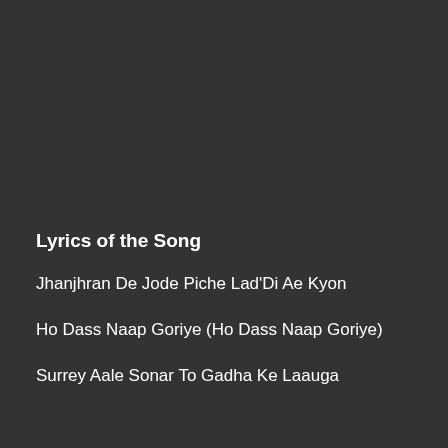Lyrics of the Song
Jhanjhran De Jode Piche Lad'Di Ae Kyon
Ho Dass Naap Goriye (Ho Dass Naap Goriye)
Surrey Aale Sonar To Gadha Ke Laauga